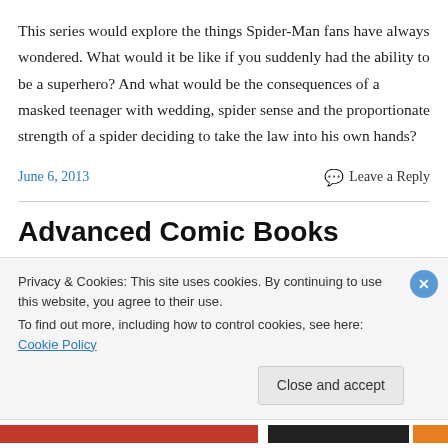This series would explore the things Spider-Man fans have always wondered. What would it be like if you suddenly had the ability to be a superhero? And what would be the consequences of a masked teenager with wedding, spider sense and the proportionate strength of a spider deciding to take the law into his own hands?
June 6, 2013   Leave a Reply
Advanced Comic Books
Privacy & Cookies: This site uses cookies. By continuing to use this website, you agree to their use.
To find out more, including how to control cookies, see here: Cookie Policy
Close and accept